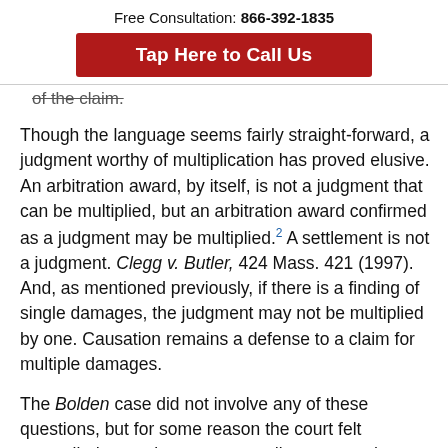Free Consultation: 866-392-1835
[Figure (other): Red call-to-action button reading 'Tap Here to Call Us']
of the claim.
Though the language seems fairly straight-forward, a judgment worthy of multiplication has proved elusive. An arbitration award, by itself, is not a judgment that can be multiplied, but an arbitration award confirmed as a judgment may be multiplied.2 A settlement is not a judgment. Clegg v. Butler, 424 Mass. 421 (1997). And, as mentioned previously, if there is a finding of single damages, the judgment may not be multiplied by one. Causation remains a defense to a claim for multiple damages.
The Bolden case did not involve any of these questions, but for some reason the court felt compelled to ruminate on some distant turns the case might take along the c